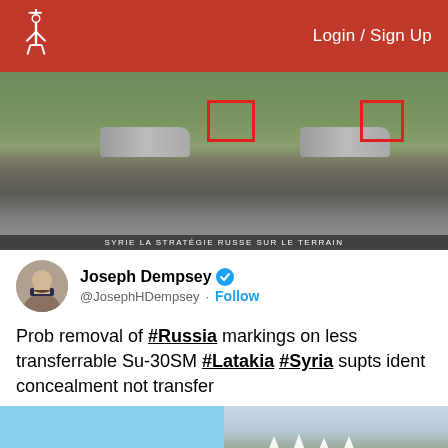Login / Sign Up
[Figure (photo): Aerial or ground-level photo of military aircraft (Su-30SM) at Latakia airbase, Syria. Two red rectangles highlight aircraft tail fins. Bottom bar reads: SYRIE LA STRATEGIE RUSSE SUR LE TERRAIN]
Joseph Dempsey @JosephHDempsey · Follow
Prob removal of #Russia markings on less transferrable Su-30SM #Latakia #Syria supts ident concealment not transfer
[Figure (photo): Two side-by-side photos at bottom: left shows a blue sky landscape, right shows what appear to be white aircraft or missile shapes in a field]